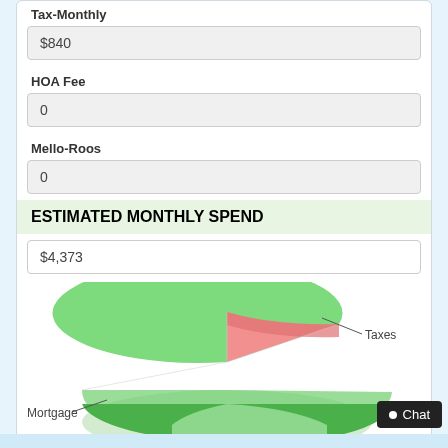Tax-Monthly
$840
HOA Fee
0
Mello-Roos
0
ESTIMATED MONTHLY SPEND
$4,373
[Figure (pie-chart): Estimated Monthly Spend]